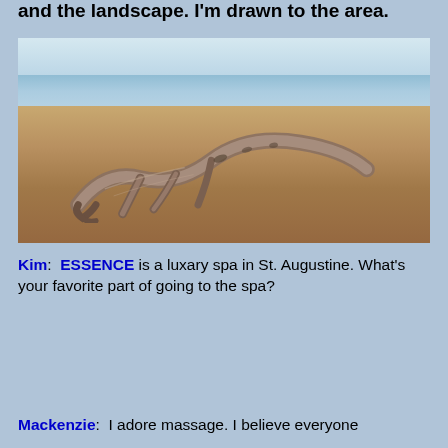and the landscape. I'm drawn to the area.
[Figure (photo): Photograph of a large, weathered driftwood log lying on a sandy beach with ocean waves visible in the background.]
Kim:  ESSENCE is a luxary spa in St. Augustine. What's your favorite part of going to the spa?
Mackenzie:  I adore massage. I believe everyone